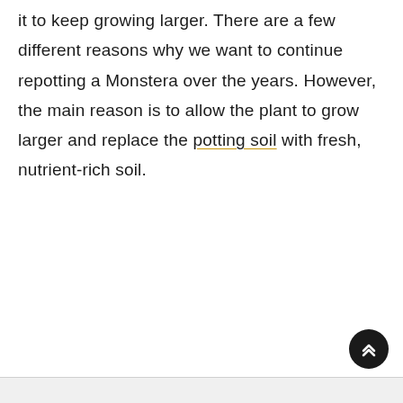it to keep growing larger. There are a few different reasons why we want to continue repotting a Monstera over the years. However, the main reason is to allow the plant to grow larger and replace the potting soil with fresh, nutrient-rich soil.